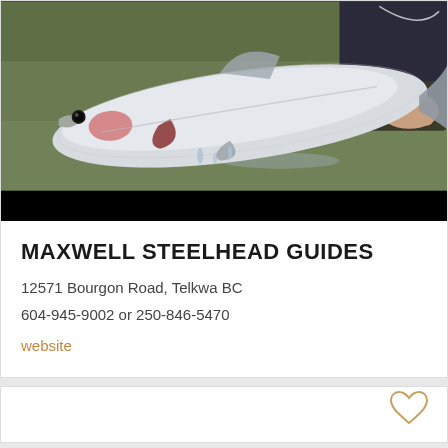[Figure (photo): Person holding a large steelhead trout fish over water, river or stream in background. Fish is silver/white with pinkish cheeks. Black bar at bottom of image.]
MAXWELL STEELHEAD GUIDES
12571 Bourgon Road, Telkwa BC
604-945-9002 or 250-846-5470
website